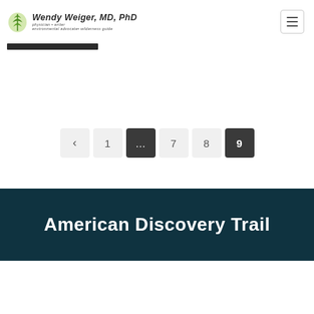Wendy Weiger, MD, PhD — physician • writer environmental advocate• wilderness guide
[Figure (other): Dark horizontal bar element]
[Figure (other): Pagination navigation with buttons: back arrow, 1, ..., 7, 8, 9]
American Discovery Trail